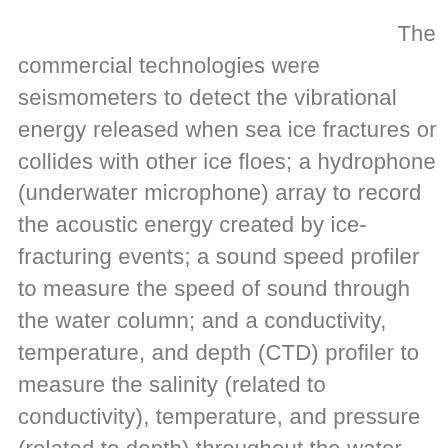The commercial technologies were seismometers to detect the vibrational energy released when sea ice fractures or collides with other ice floes; a hydrophone (underwater microphone) array to record the acoustic energy created by ice-fracturing events; a sound speed profiler to measure the speed of sound through the water column; and a conductivity, temperature, and depth (CTD) profiler to measure the salinity (related to conductivity), temperature, and pressure (related to depth) throughout the water column. The speed of sound in the ocean primarily depends on these three quantities.